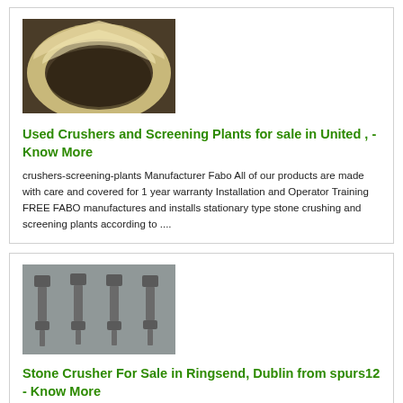[Figure (photo): Close-up photo of a curved beige/cream colored belt or ring material against a dark background]
Used Crushers and Screening Plants for sale in United , - Know More
crushers-screening-plants Manufacturer Fabo All of our products are made with care and covered for 1 year warranty Installation and Operator Training FREE FABO manufactures and installs stationary type stone crushing and screening plants according to ....
[Figure (photo): Photo of four metal bolts/screws with hex heads laid on a gray surface]
Stone Crusher For Sale in Ringsend, Dublin from spurs12 - Know More